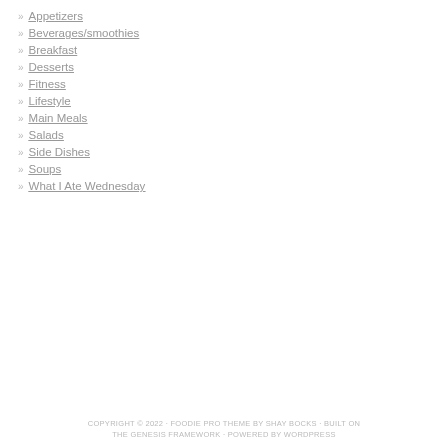Appetizers
Beverages/smoothies
Breakfast
Desserts
Fitness
Lifestyle
Main Meals
Salads
Side Dishes
Soups
What I Ate Wednesday
COPYRIGHT © 2022 · FOODIE PRO THEME BY SHAY BOCKS · BUILT ON THE GENESIS FRAMEWORK · POWERED BY WORDPRESS